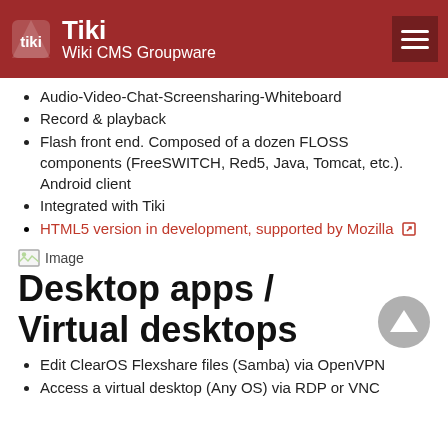Tiki Wiki CMS Groupware
Audio-Video-Chat-Screensharing-Whiteboard
Record & playback
Flash front end. Composed of a dozen FLOSS components (FreeSWITCH, Red5, Java, Tomcat, etc.). Android client
Integrated with Tiki
HTML5 version in development, supported by Mozilla [external link icon]
[Figure (other): Broken image placeholder labeled 'Image']
Desktop apps / Virtual desktops
Edit ClearOS Flexshare files (Samba) via OpenVPN
Access a virtual desktop (Any OS) via RDP or VNC